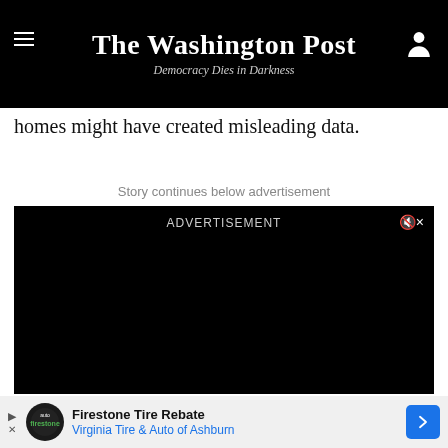The Washington Post — Democracy Dies in Darkness
homes might have created misleading data.
Story continues below advertisement
[Figure (other): Black video advertisement player with ADVERTISEMENT label and mute button]
[Figure (other): Firestone Tire Rebate banner ad — Virginia Tire & Auto of Ashburn]